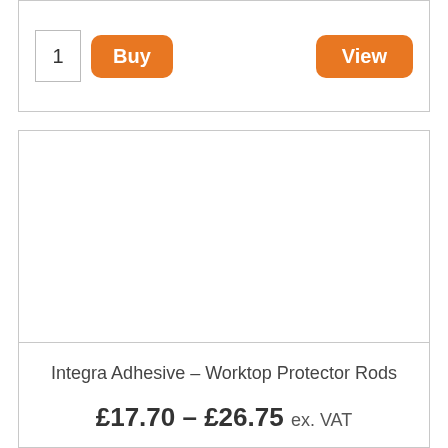1
Buy
View
[Figure (other): Empty white product image placeholder area inside a bordered card]
Integra Adhesive – Worktop Protector Rods
£17.70 – £26.75 ex. VAT